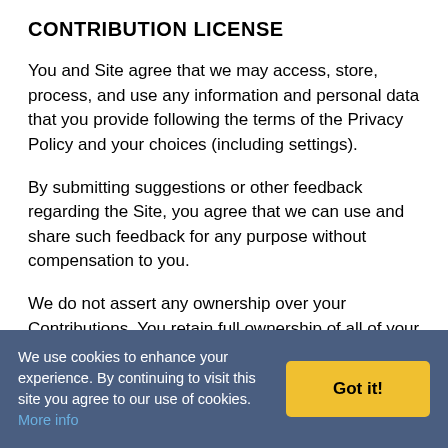CONTRIBUTION LICENSE
You and Site agree that we may access, store, process, and use any information and personal data that you provide following the terms of the Privacy Policy and your choices (including settings).
By submitting suggestions or other feedback regarding the Site, you agree that we can use and share such feedback for any purpose without compensation to you.
We do not assert any ownership over your Contributions. You retain full ownership of all of your Contributions and any intellectual property rights or
We use cookies to enhance your experience. By continuing to visit this site you agree to our use of cookies. More info